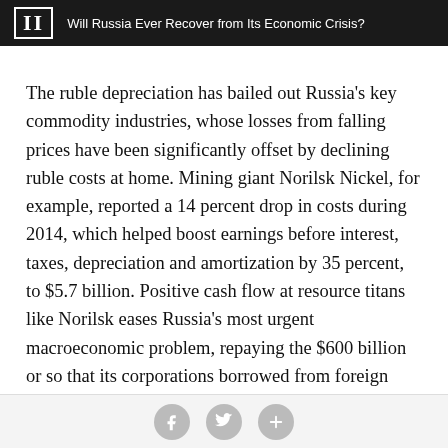II  Will Russia Ever Recover from Its Economic Crisis?
The ruble depreciation has bailed out Russia’s key commodity industries, whose losses from falling prices have been significantly offset by declining ruble costs at home. Mining giant Norilsk Nickel, for example, reported a 14 percent drop in costs during 2014, which helped boost earnings before interest, taxes, depreciation and amortization by 35 percent, to $5.7 billion. Positive cash flow at resource titans like Norilsk eases Russia’s most urgent macroeconomic problem, repaying the $600 billion or so that its corporations borrowed from foreign banks and bondholders, most of which will not roll over
social share buttons